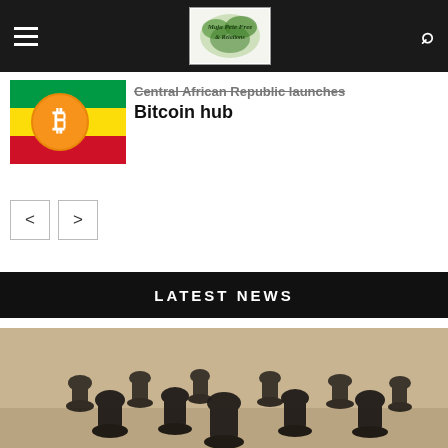Navigation bar with hamburger menu, logo, and search icon
[Figure (photo): Bitcoin coin with African flag colors in background]
Central African Republic launches Bitcoin hub
Navigation arrows: previous (<) and next (>)
LATEST NEWS
[Figure (photo): Bronze statues of figures in kneeling/crouching poses with heads bowed, arranged in a group on a gallery floor]